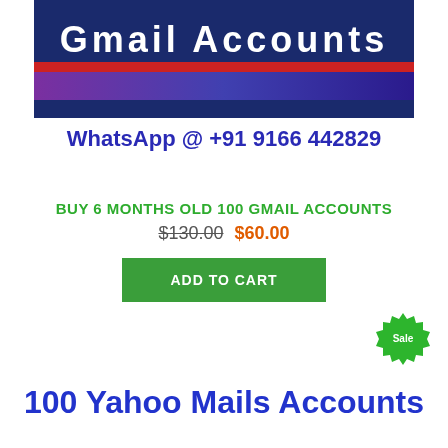[Figure (illustration): Banner image with dark blue/purple and red stripe background showing 'Gmail Accounts' text in white, with WhatsApp contact number below]
WhatsApp @ +91 9166 442829
BUY 6 MONTHS OLD 100 GMAIL ACCOUNTS
$130.00 $60.00
ADD TO CART
[Figure (illustration): Green starburst sale badge with text 'Sale']
100 Yahoo Mails Accounts